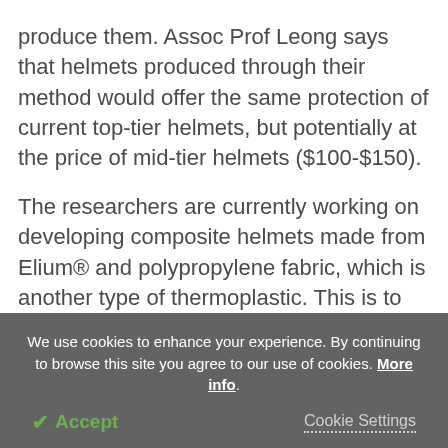produce them. Assoc Prof Leong says that helmets produced through their method would offer the same protection of current top-tier helmets, but potentially at the price of mid-tier helmets ($100-$150).
The researchers are currently working on developing composite helmets made from Elium® and polypropylene fabric, which is another type of thermoplastic. This is to overcome the composite helmet's one current trade-off which is that they weigh about 20 per cent more than polycarbonate helmets.
We use cookies to enhance your experience. By continuing to browse this site you agree to our use of cookies. More info.
✓ Accept
Cookie Settings